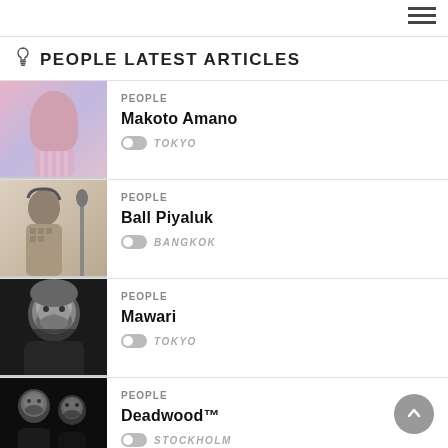PEOPLE LATEST ARTICLES
PEOPLE
Makoto Amano
TOKYO
PEOPLE
Ball Piyaluk
BANGKOK
PEOPLE
Mawari
TOKYO
PEOPLE
Deadwood™
STOCKHOLM